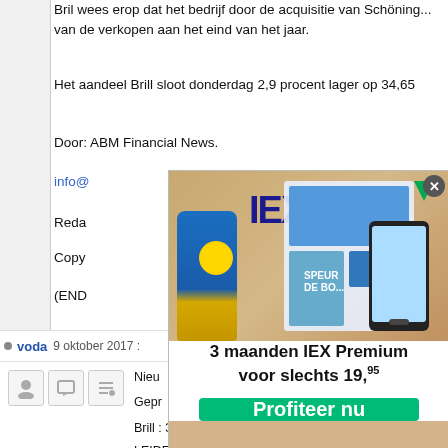Bril wees erop dat het bedrijf door de acquisitie van Schöning... van de verkopen aan het eind van het jaar.
Het aandeel Brill sloot donderdag 2,9 procent lager op 34,65
Door: ABM Financial News.
info@...
Reda...
Copy...
(END...
voda  9 oktober 2017
[Figure (screenshot): IEX Premium advertisement overlay showing sunscreen product, IEX magazine, smartphone, and promotion '3 maanden IEX Premium voor slechts 19,95' with 'Profiteer nu' button]
Nieu...
Gepr...
Brill :  36,0...
LEIDEN (AFN) - Wetenschappelijk uitgever Brill neemt in mei... topman Herman Pabbruwe, die met pensioen gaat. Hij word...